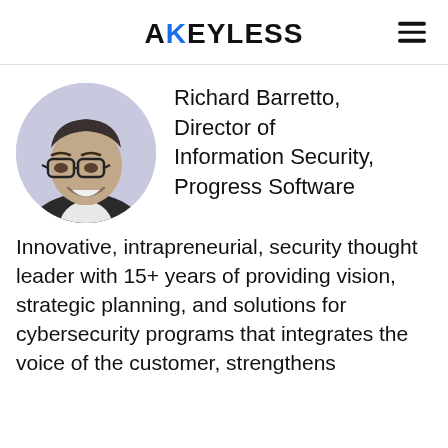AKEYLESS
[Figure (photo): Circular headshot photo of Richard Barretto, a smiling man with glasses, wearing a suit, with blue-tinted black-and-white appearance]
Richard Barretto, Director of Information Security, Progress Software
Innovative, intrapreneurial, security thought leader with 15+ years of providing vision, strategic planning, and solutions for cybersecurity programs that integrates the voice of the customer, strengthens